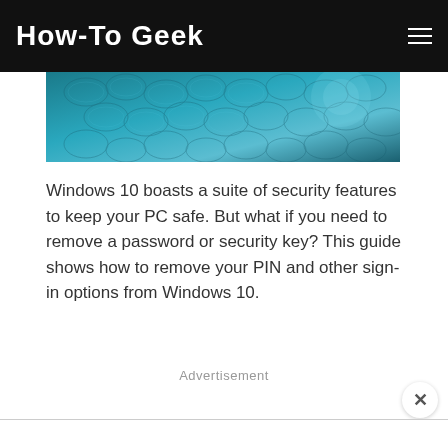How-To Geek
[Figure (photo): Close-up texture of blue cracked or scaled surface, likely a reptile skin or similar textured material with teal/blue tones]
Windows 10 boasts a suite of security features to keep your PC safe. But what if you need to remove a password or security key? This guide shows how to remove your PIN and other sign-in options from Windows 10.
Advertisement